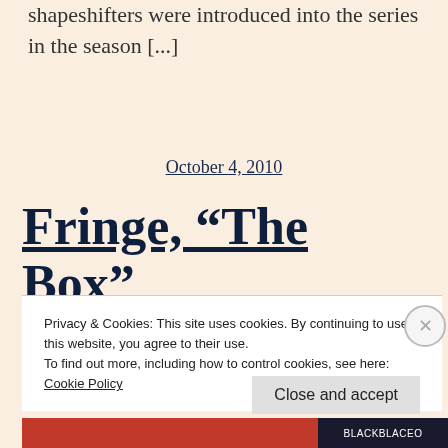shapeshifters were introduced into the series in the season [...]
October 4, 2010
Fringe, “The Box”
Privacy & Cookies: This site uses cookies. By continuing to use this website, you agree to their use.
To find out more, including how to control cookies, see here: Cookie Policy
Close and accept